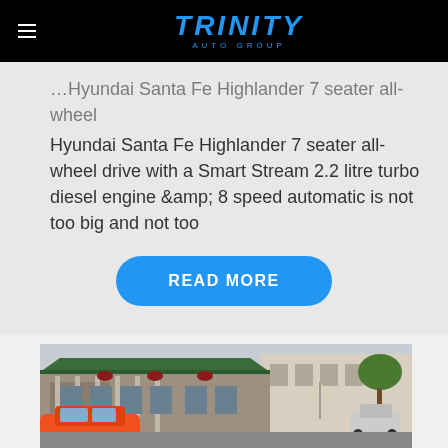TRINITY AUTO GROUP
...Hyundai Santa Fe Highlander 7 seater all-wheel drive with a Smart Stream 2.2 litre turbo diesel engine &amp; 8 speed automatic is not too big and not too
READ MORE
[Figure (photo): Street scene with a building with green roof, hanging flower baskets, and an orange car in the foreground]